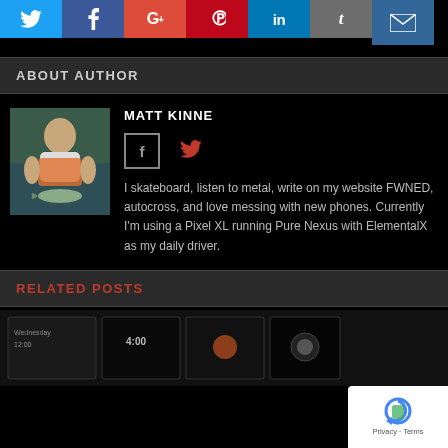[Figure (other): Social share buttons: Twitter, Facebook, Google+, Pinterest, LinkedIn, Tumblr, Email]
ABOUT AUTHOR
[Figure (photo): Photo of author Matt Kinne sitting in a boat holding a fish]
MATT KINNE
[Figure (other): Author social icons: Facebook (bordered box) and Twitter (red bird icon)]
I skateboard, listen to metal, write on my website FWNED, autocross, and love messing with new phones. Currently I'm using a Pixel XL running Pure Nexus with ElementalX as my daily driver.
RELATED POSTS
[Figure (photo): Strip of smartphone screen screenshots at bottom of page]
[Figure (other): reCAPTCHA badge with Privacy and Terms links]